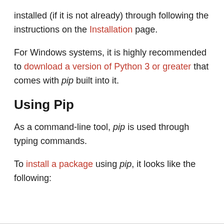installed (if it is not already) through following the instructions on the Installation page.
For Windows systems, it is highly recommended to download a version of Python 3 or greater that comes with pip built into it.
Using Pip
As a command-line tool, pip is used through typing commands.
To install a package using pip, it looks like the following: